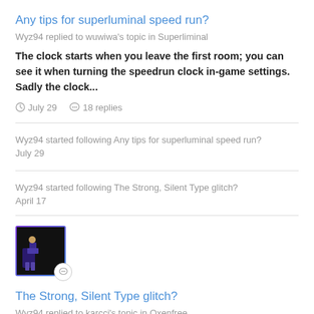Any tips for superluminal speed run?
Wyz94 replied to wuwiwa's topic in Superliminal
The clock starts when you leave the first room; you can see it when turning the speedrun clock in-game settings. Sadly the clock...
July 29   18 replies
Wyz94 started following Any tips for superluminal speed run?
July 29
Wyz94 started following The Strong, Silent Type glitch?
April 17
[Figure (illustration): Thumbnail image with a dark background showing a game scene with a character, surrounded by a purple-blue gradient border, with a white circular comment badge overlaid at the bottom right]
The Strong, Silent Type glitch?
Wyz94 replied to karcci's topic in Oxenfree
I got the same problem, I did one playthrough without selecting any dialog and the trophy didn't pop. I played a second time and got it. I...